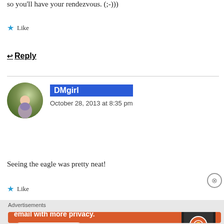so you'll have your rendezvous. (;-)))
★ Like
↩ Reply
DMgirl
October 28, 2013 at 8:35 pm
[Figure (photo): Circular avatar photo of a woman in a floral dress outdoors]
Seeing the eagle was pretty neat!
★ Like
Advertisements
[Figure (infographic): DuckDuckGo advertisement banner: Search, browse, and email with more privacy. All in One Free App. Shows a phone with DuckDuckGo logo.]